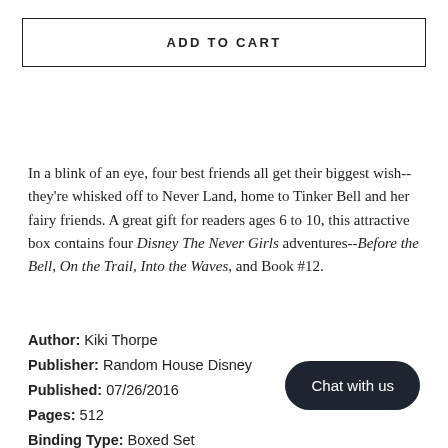ADD TO CART
In a blink of an eye, four best friends all get their biggest wish-- they're whisked off to Never Land, home to Tinker Bell and her fairy friends. A great gift for readers ages 6 to 10, this attractive box contains four Disney The Never Girls adventures--Before the Bell, On the Trail, Into the Waves, and Book #12.
Author: Kiki Thorpe
Publisher: Random House Disney
Published: 07/26/2016
Pages: 512
Binding Type: Boxed Set
Chat with us